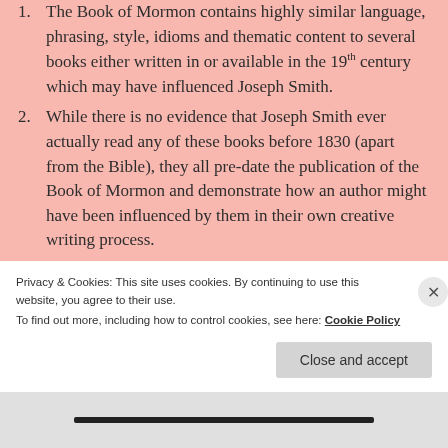The Book of Mormon contains highly similar language, phrasing, style, idioms and thematic content to several books either written in or available in the 19th century which may have influenced Joseph Smith.
While there is no evidence that Joseph Smith ever actually read any of these books before 1830 (apart from the Bible), they all pre-date the publication of the Book of Mormon and demonstrate how an author might have been influenced by them in their own creative writing process.
Privacy & Cookies: This site uses cookies. By continuing to use this website, you agree to their use. To find out more, including how to control cookies, see here: Cookie Policy
Close and accept